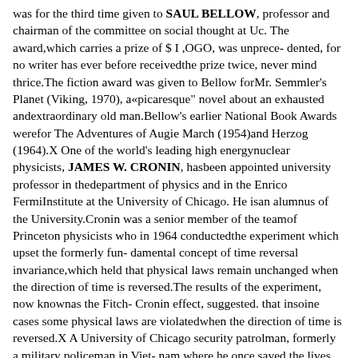was for the third time given to SAUL BELLOW, professor and chairman of the committee on social thought at Uc. The award,which carries a prize of $ I ,OGO, was unprece- dented, for no writer has ever before receivedthe prize twice, never mind thrice.The fiction award was given to Bellow forMr. Semmler's Planet (Viking, 1970), a«picaresque" novel about an exhausted andextraordinary old man.Bellow's earlier National Book Awards werefor The Adventures of Augie March (1954)and Herzog (1964).X One of the world's leading high energynuclear physicists, JAMES W. CRONIN, hasbeen appointed university professor in thedepartment of physics and in the Enrico FermiInstitute at the University of Chicago. He isan alumnus of the University.Cronin was a senior member of the teamof Princeton physicists who in 1964 conductedthe experiment which upset the formerly fundamental concept of time reversal invariance,which held that physical laws remain unchanged when the direction of time is reversed.The results of the experiment, now knownas the Fitch-Cronin effect, suggested. that insoine cases some physical laws are violatedwhen the direction of time is reversed.X A University of Chicago security patrolman, formerly a military policeman in Vietnam where he once saved the lives of fifteenvillagers, rescued seven people from two burning buildings on his way home from the University, the morning after Christmas.TYRONNE GARRETT was driving west on55th Street on the morning of December 26when he saw a man in his night-clothes, running down the street and smoke rolling out ofa two-story apartment